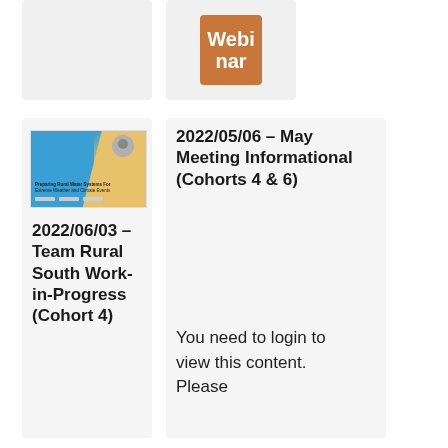[Figure (other): Empty light gray card, top-left]
[Figure (other): Webinar badge/tag in orange-brown color with white text 'Webinar']
[Figure (illustration): Thumbnail image for Team Rural South work-in-progress document showing blue and gold diagonal design with small figure]
2022/06/03 – Team Rural South Work-in-Progress (Cohort 4)
2022/05/06 – May Meeting Informational (Cohorts 4 & 6)
You need to login to view this content. Please